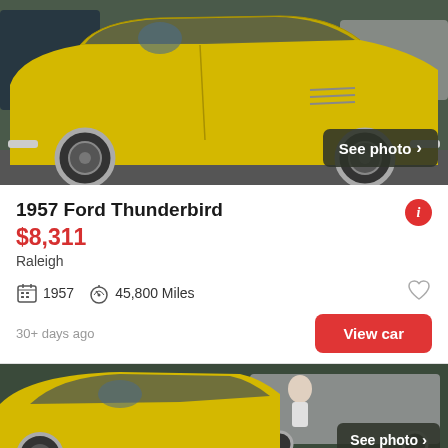[Figure (photo): Yellow 1957 Ford Thunderbird classic car, side profile view, with chrome wheels visible, photographed outdoors. 'See photo >' button overlay in bottom-right corner.]
1957 Ford Thunderbird
$8,311
Raleigh
1957   45,800 Miles
30+ days ago
View car
[Figure (photo): Yellow 1957 Ford Thunderbird classic car, partial view from above/front-side, with a person visible in background, and a silver pickup truck. 'See photo >' button overlay in bottom-right corner.]